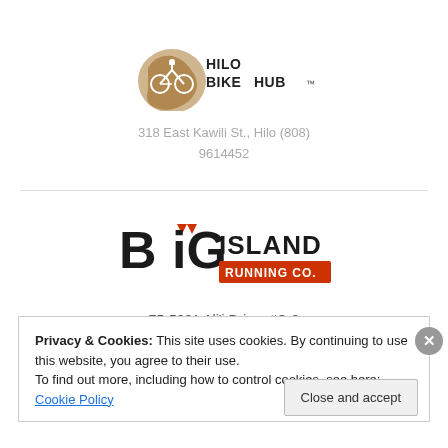[Figure (logo): Hilo Bike Hub logo with bicycle silhouette and Hawaii island shape in brown]
318 East Kawili St., Hilo (808) 9614452
[Figure (logo): Big Island Running Co. logo with bold black and orange text]
75-5801 Ali'i Drive, #C-8
Kailua-Kona, HI
Privacy & Cookies: This site uses cookies. By continuing to use this website, you agree to their use.
To find out more, including how to control cookies, see here: Cookie Policy